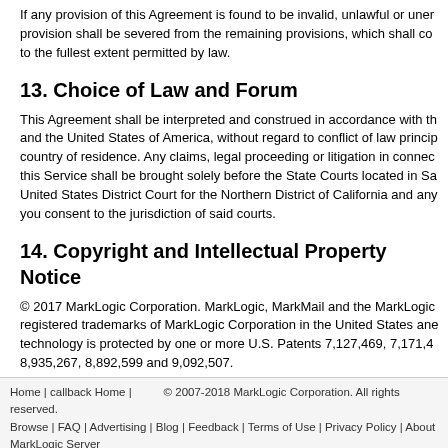If any provision of this Agreement is found to be invalid, unlawful or unenforceable, that provision shall be severed from the remaining provisions, which shall continue in full force to the fullest extent permitted by law.
13. Choice of Law and Forum
This Agreement shall be interpreted and construed in accordance with the laws of California and the United States of America, without regard to conflict of law principles or your country of residence. Any claims, legal proceeding or litigation in connection with the use of this Service shall be brought solely before the State Courts located in San Jose, California, United States District Court for the Northern District of California and any appellate courts; you consent to the jurisdiction of said courts.
14. Copyright and Intellectual Property Notice
© 2017 MarkLogic Corporation. MarkLogic, MarkMail and the MarkLogic logo are registered trademarks of MarkLogic Corporation in the United States and other countries. Our technology is protected by one or more U.S. Patents 7,127,469, 7,171,404, 7,756,858, 8,935,267, 8,892,599 and 9,092,507.
Last updated March 20, 2017
Home | callback Home | © 2007-2018 MarkLogic Corporation. All rights reserved. Browse | FAQ | Advertising | Blog | Feedback | Terms of Use | Privacy Policy | About MarkLogic Server